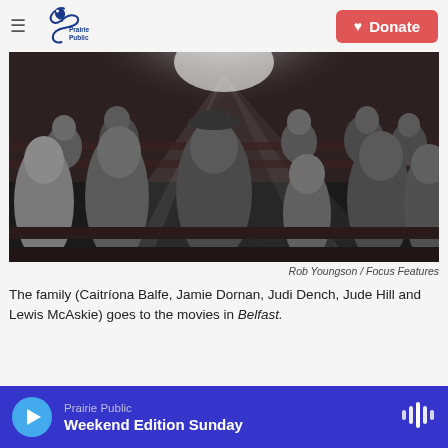Prairie Public | Donate
[Figure (photo): Black and white photo of a family sitting in a cinema theater, with a bright projector light beam visible from behind. Several people including adults and children are seated in rows watching something off-screen. A man in a bowler hat is in the center.]
Rob Youngson / Focus Features
The family (Caitrí­ona Balfe, Jamie Dornan, Judi Dench, Jude Hill and Lewis McAskie) goes to the movies in Belfast.
Prairie Public — Weekend Edition Sunday